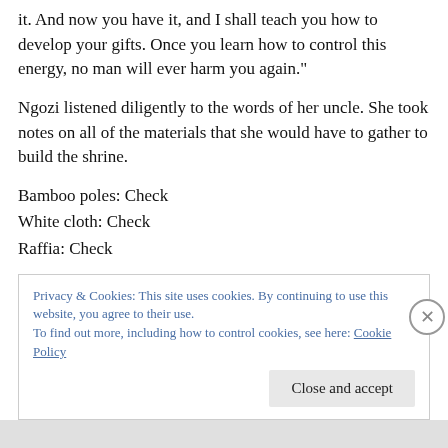it. And now you have it, and I shall teach you how to develop your gifts. Once you learn how to control this energy, no man will ever harm you again."
Ngozi listened diligently to the words of her uncle. She took notes on all of the materials that she would have to gather to build the shrine.
Bamboo poles: Check
White cloth: Check
Raffia: Check
Privacy & Cookies: This site uses cookies. By continuing to use this website, you agree to their use.
To find out more, including how to control cookies, see here: Cookie Policy